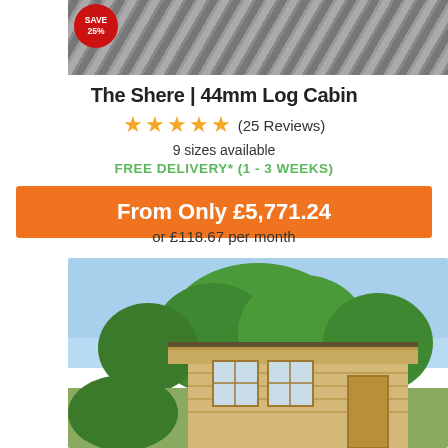[Figure (photo): Top partial product photo showing gravel/stone surface with red SAVE 25% badge overlay]
The Shere | 44mm Log Cabin
★★★★★ (25 Reviews)
9 sizes available
FREE DELIVERY* (1 - 3 WEEKS)
From Only £5,771.24
or £118.67 per month
[Figure (photo): Photo of a log cabin with light wood construction, large windows, flat extended roof, surrounded by green trees and blue sky]